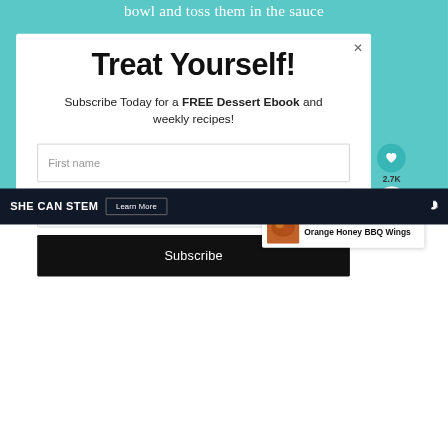bowl and toss them in the sauce
Treat Yourself!
Subscribe Today for a FREE Dessert Ebook and weekly recipes!
First name
Email address
Subscribe
2.7K
WHAT'S NEXT → Orange Honey BBQ Wings
SHE CAN STEM  Learn More